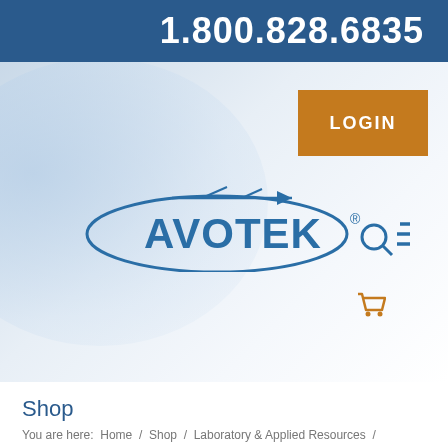1.800.828.6835
[Figure (logo): AVOTEK aviation training products logo with airplane silhouette and oval design, with search and hamburger menu icons]
LOGIN
Shop
You are here:  Home  /  Shop  /  Laboratory & Applied Resources  /  Airframe Systems  /  Turbine Hydraulic Landing Gear System Trainer AL45
[Figure (photo): Turbine Hydraulic Landing Gear System Trainer AL45 product photo showing mechanical training equipment with hydraulic components]